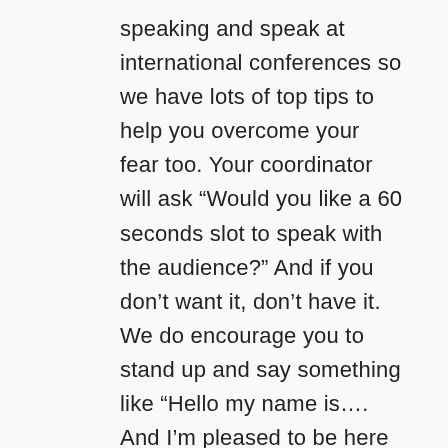speaking and speak at international conferences so we have lots of top tips to help you overcome your fear too. Your coordinator will ask “Would you like a 60 seconds slot to speak with the audience?” And if you don’t want it, don’t have it. We do encourage you to stand up and say something like “Hello my name is…. And I’m pleased to be here today.” Break down your fear anyway that suits you – and we will help you too.